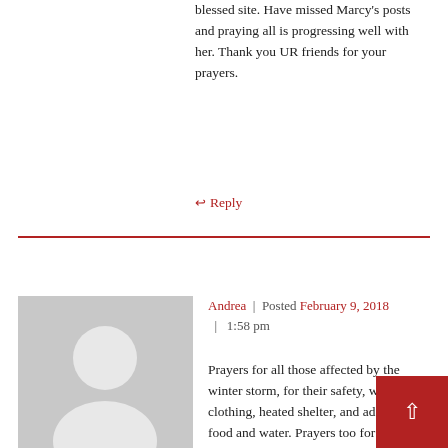blessed site. Have missed Marcy's posts and praying all is progressing well with her. Thank you UR friends for your prayers.
↩ Reply
Andrea | Posted February 9, 2018 | 1:58 pm
[Figure (illustration): Default user avatar silhouette — grey square with white person icon]
Prayers for all those affected by the winter storm, for their safety, warm clothing, heated shelter, and adequate food and water. Prayers too for single parents, may they be strong with the help of God and friends and family, and may their needs be met. I lift Marcy up in prayer, may she gain strength and be supported in those areas in which she needs help, including having a regular connection to the internet.

Prayers for my Sri Lankan friend, Kumar, and for his tourism